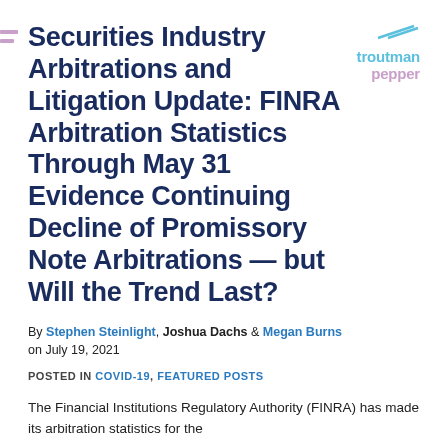troutman pepper
Securities Industry Arbitrations and Litigation Update: FINRA Arbitration Statistics Through May 31 Evidence Continuing Decline of Promissory Note Arbitrations — but Will the Trend Last?
By Stephen Steinlight, Joshua Dachs & Megan Burns on July 19, 2021
POSTED IN COVID-19, FEATURED POSTS
The Financial Institutions Regulatory Authority (FINRA) has made its arbitration statistics for the